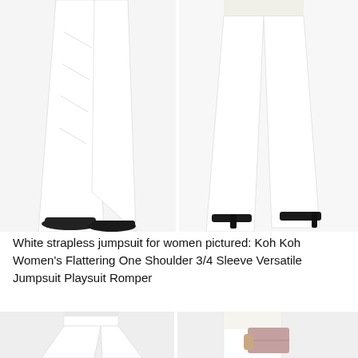[Figure (photo): Two side-by-side photos of lower body of women wearing white wide-leg jumpsuits. Left figure shows ruched white wide-leg pants with black flat shoes. Right figure shows smooth white wide-leg pants with black high heel shoes.]
White strapless jumpsuit for women pictured: Koh Koh Women's Flattering One Shoulder 3/4 Sleeve Versatile Jumpsuit Playsuit Romper
[Figure (photo): Two side-by-side partial photos of women wearing white pants/jumpsuits. Left shows white flared pants from waist down. Right shows woman holding a mauve/pink clutch bag wearing white pants.]